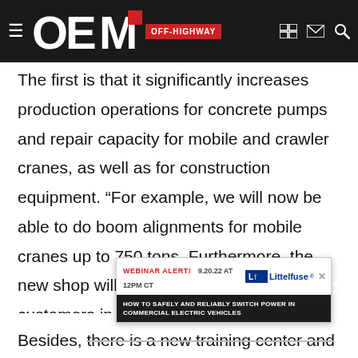OEM OFF-HIGHWAY
The first is that it significantly increases production operations for concrete pumps and repair capacity for mobile and crawler cranes, as well as for construction equipment. “For example, we will now be able to do boom alignments for mobile cranes up to 750 tons. Furthermore, the new shop will be a lot closer to our many customers in the Northeast region, which will lead to lower logistic costs,” says Reher. The new shop is also equipped to handle the growing numbers of Liebherr earthmoving equipment. “We experienced substantial growth in this area in recent years and have therefore invested in our internal infrastructure to keep pace with the demand.
[Figure (infographic): Advertisement banner: Webinar Alert 9.20.22 at 12PM CT - Littelfuse logo - How to safely and reliably switch power in commercial electric vehicles]
Besides, there is a new training center and workshop. “We